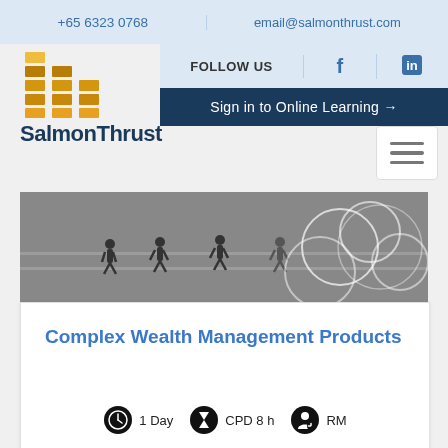+65 6323 0768   email@salmonthrust.com
FOLLOW US
Sign in to Online Learning →
[Figure (logo): SalmonThrust logo with orange stacked bar chart icon and dark blue company name text]
[Figure (photo): Silhouettes of runners on a track with white circular line patterns on grey background]
Complex Wealth Management Products
1 Day   CPD 8 h   RM